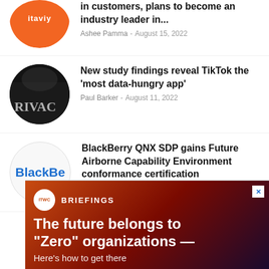[Figure (photo): Partially visible orange circle logo (Navily) cropped at top]
in customers, plans to become an industry leader in...
Ashee Pamma - August 15, 2022
[Figure (photo): Circular dark image showing word PRIVACY on a chalkboard with hands]
New study findings reveal TikTok the 'most data-hungry app'
Paul Barker - August 11, 2022
[Figure (logo): BlackBerry logo in blue text showing 'BlackBe' (partially cropped)]
BlackBerry QNX SDP gains Future Airborne Capability Environment conformance certification
Tom Li - August 7, 2022
[Figure (other): ITWC Briefings advertisement banner with dark red/maroon gradient background, white ITWC badge, text reading 'The future belongs to "Zero" organizations — Here's how to get there']